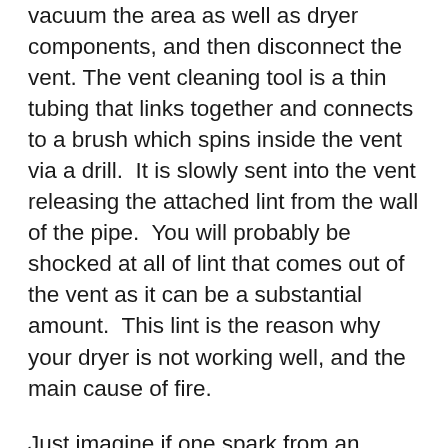vacuum the area as well as dryer components, and then disconnect the vent. The vent cleaning tool is a thin tubing that links together and connects to a brush which spins inside the vent via a drill.  It is slowly sent into the vent releasing the attached lint from the wall of the pipe.  You will probably be shocked at all of lint that comes out of the vent as it can be a substantial amount.  This lint is the reason why your dryer is not working well, and the main cause of fire.
Just imagine if one spark from an overworking dryer hits a lot of lint build-up in your vent pipe that is in the middle of your home, going through the roof.  The fire will be devastating, and it truly puts the health and safety of your family at risk. Whether you do it yourself or hire it out, keep your dryer vent